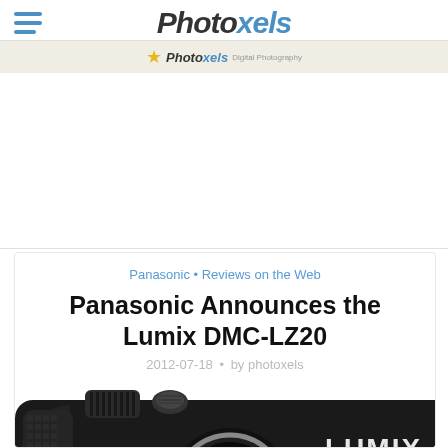Photoxels
[Figure (logo): Photoxels sub-logo with star icon]
Panasonic • Reviews on the Web
Panasonic Announces the Lumix DMC-LZ20
2012-07-18 • by photoxels
[Figure (photo): Front view of the Panasonic Lumix DMC-LZ20 camera showing LUMIX branding, textured black body, dial, and lens]